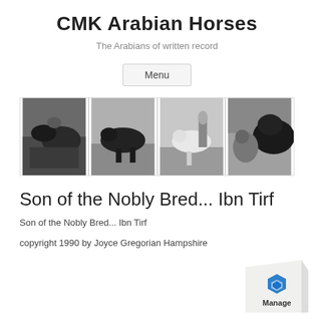CMK Arabian Horses
The Arabians of written record
Menu
[Figure (photo): A horizontal strip of four black-and-white historical photographs of Arabian horses with riders or handlers]
Son of the Nobly Bred... Ibn Tirf
Son of the Nobly Bred... Ibn Tirf
copyright 1990 by Joyce Gregorian Hampshire
[Figure (logo): Manage badge logo in lower right corner]